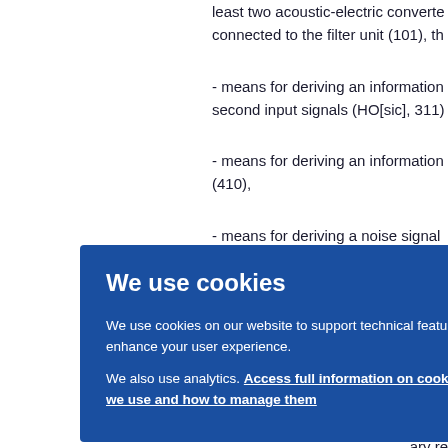least two acoustic-electric converters connected to the filter unit (101), th
- means for deriving an information second input signals (HO[sic], 311)
- means for deriving an information (410),
- means for deriving a noise signal
[Figure (screenshot): Cookie consent overlay with title 'We use cookies', body text about cookie usage and analytics, a link 'Access full information on cookies that we use and how to manage them', and an OK button.]
ignal
taneo
ignal
ary re